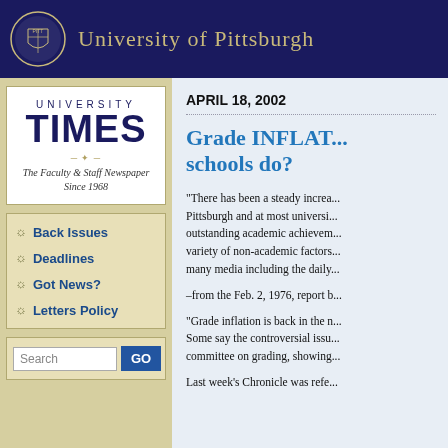University of Pittsburgh
[Figure (logo): University of Pittsburgh seal/crest logo in white on dark navy background]
UNIVERSITY TIMES
The Faculty & Staff Newspaper Since 1968
Back Issues
Deadlines
Got News?
Letters Policy
Search
APRIL 18, 2002
Grade INFLAT... schools do?
"There has been a steady increa... Pittsburgh and at most universi... outstanding academic achievem... variety of non-academic factors... many media including the daily...
–from the Feb. 2, 1976, report b...
"Grade inflation is back in the n... Some say the controversial issu... committee on grading, showing...
Last week's Chronicle was refe...